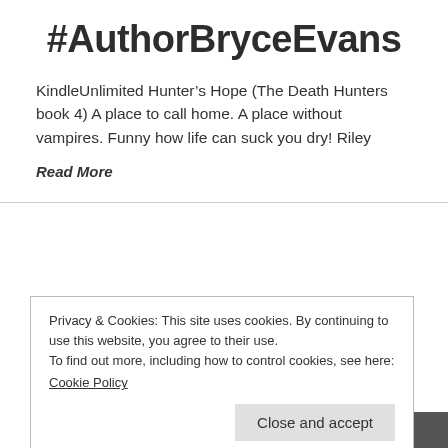#AuthorBryceEvans
KindleUnlimited Hunter’s Hope (The Death Hunters book 4) A place to call home. A place without vampires. Funny how life can suck you dry! Riley
Read More
Privacy & Cookies: This site uses cookies. By continuing to use this website, you agree to their use.
To find out more, including how to control cookies, see here:
Cookie Policy
Close and accept
Cover DesignRelease Date: 6/16/20Amazon Link: